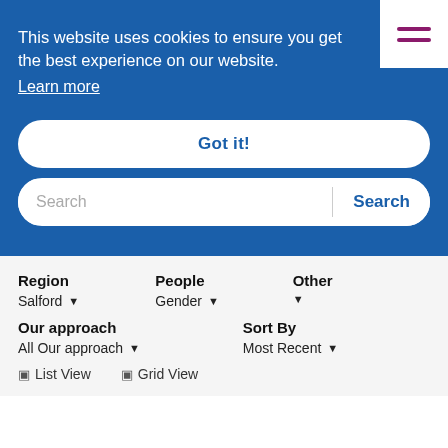This website uses cookies to ensure you get the best experience on our website.
Learn more
Got it!
Search
Region Salford | People Gender | Other
Our approach All Our approach | Sort By Most Recent
List View | Grid View